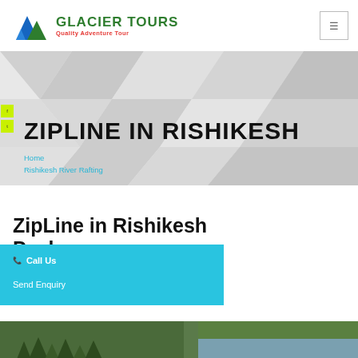[Figure (logo): Glacier Tours logo with mountain triangle shapes in blue and green, company name in green, tagline in red]
Glacier Tours | Quality Adventure Tour
[Figure (infographic): Hero banner with geometric polygon background in grey/white tones, social media icon bar on left side with yellow-green icons]
ZIPLINE IN RISHIKESH
Home
Rishikesh River Rafting
ZipLine in Rishikesh Packages
Call Us
Send Enquiry
[Figure (photo): Partial scenic photo showing trees and water/river at the bottom of the page]